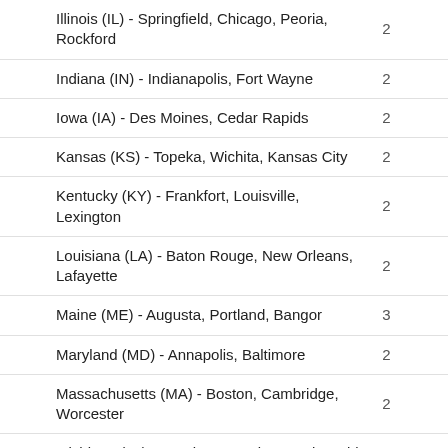Illinois (IL) - Springfield, Chicago, Peoria, Rockford	2
Indiana (IN) - Indianapolis, Fort Wayne	2
Iowa (IA) - Des Moines, Cedar Rapids	2
Kansas (KS) - Topeka, Wichita, Kansas City	2
Kentucky (KY) - Frankfort, Louisville, Lexington	2
Louisiana (LA) - Baton Rouge, New Orleans, Lafayette	2
Maine (ME) - Augusta, Portland, Bangor	3
Maryland (MD) - Annapolis, Baltimore	2
Massachusetts (MA) - Boston, Cambridge, Worcester	2
Michigan (MI) - Lansing, Detroit, Grand Rapids	2
Minnesota (MN) - St. Paul, Minneapolis, Duluth	3
Mississippi (MS) - Jackson, Biloxi, Hattiesburg	1
Missouri (MO) - Jefferson City, St Louis,